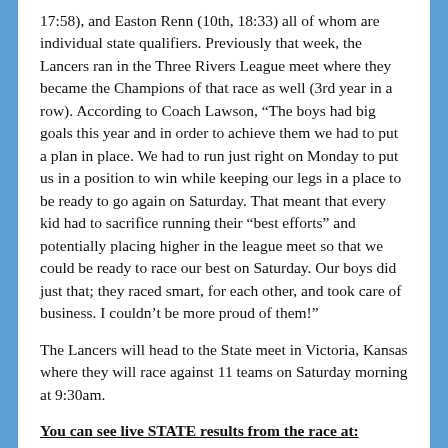17:58), and Easton Renn (10th, 18:33) all of whom are individual state qualifiers. Previously that week, the Lancers ran in the Three Rivers League meet where they became the Champions of that race as well (3rd year in a row). According to Coach Lawson, “The boys had big goals this year and in order to achieve them we had to put a plan in place. We had to run just right on Monday to put us in a position to win while keeping our legs in a place to be ready to go again on Saturday. That meant that every kid had to sacrifice running their “best efforts” and potentially placing higher in the league meet so that we could be ready to race our best on Saturday. Our boys did just that; they raced smart, for each other, and took care of business. I couldn’t be more proud of them!”
The Lancers will head to the State meet in Victoria, Kansas where they will race against 11 teams on Saturday morning at 9:30am.
You can see live STATE results from the race at: